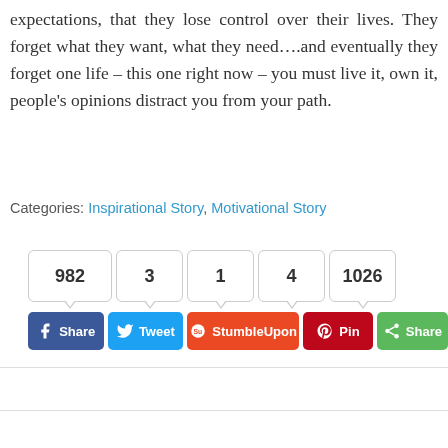expectations, that they lose control over their lives. They forget what they want, what they need….and eventually they forget one life – this one right now – you must live it, own it, people's opinions distract you from your path.
Categories: Inspirational Story, Motivational Story
[Figure (infographic): Social share buttons with counts: Facebook Share (982), Tweet (3), StumbleUpon (1), Pin (4), Share (1026)]